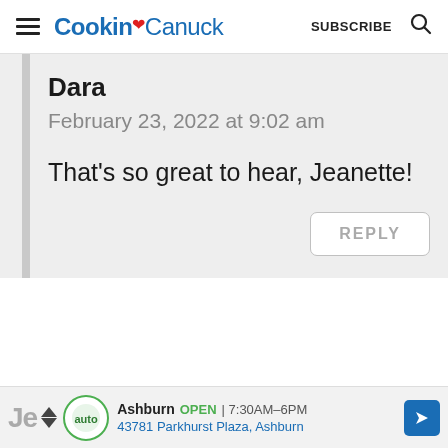Cookin' Canuck — SUBSCRIBE
Dara
February 23, 2022 at 9:02 am
That's so great to hear, Jeanette!
REPLY
Je    Ashburn  OPEN  7:30AM–6PM   43781 Parkhurst Plaza, Ashburn